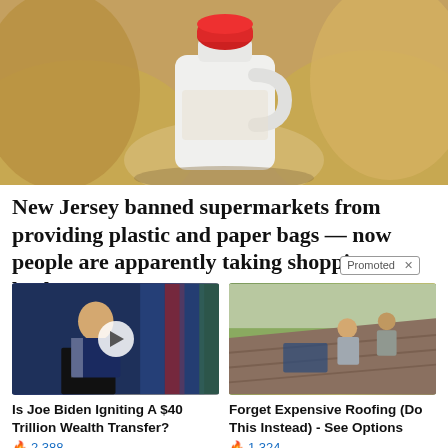[Figure (photo): Close-up photo of plastic bags with a white gallon jug with a red cap in the center]
New Jersey banned supermarkets from providing plastic and paper bags — now people are apparently taking shopping baskets
[Figure (photo): Promoted ad: Is Joe Biden Igniting A $40 Trillion Wealth Transfer? — photo of Joe Biden speaking at a podium with flags, with a video play button overlay]
Is Joe Biden Igniting A $40 Trillion Wealth Transfer?
🔥 2,388
[Figure (photo): Promoted ad: Forget Expensive Roofing (Do This Instead) - See Options — photo of two workers on a roof]
Forget Expensive Roofing (Do This Instead) - See Options
🔥 1,324